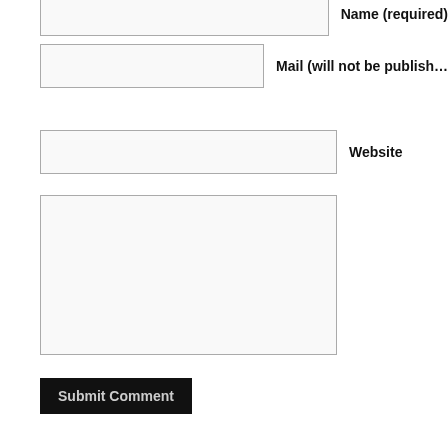[Figure (screenshot): Web comment form partial view showing: a text input box for Name (required, cropped), a text input box for Mail (will not be published, cropped), a text input box for Website, a large textarea for comment text, and a Submit Comment button with black background.]
Name (required)
Mail (will not be published)
Website
Submit Comment